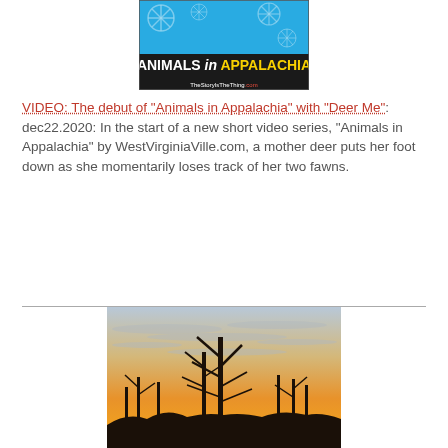[Figure (logo): Animals in Appalachia logo with snowflake background, yellow text on dark bar, TheStoryIsTheThing.com tagline]
VIDEO: The debut of “Animals in Appalachia” with “Deer Me”: dec22.2020: In the start of a new short video series, “Animals in Appalachia” by WestVirginiaVille.com, a mother deer puts her foot down as she momentarily loses track of her two fawns.
[Figure (photo): A winter sunset photo showing silhouetted bare trees against an orange and golden sky with wispy clouds]